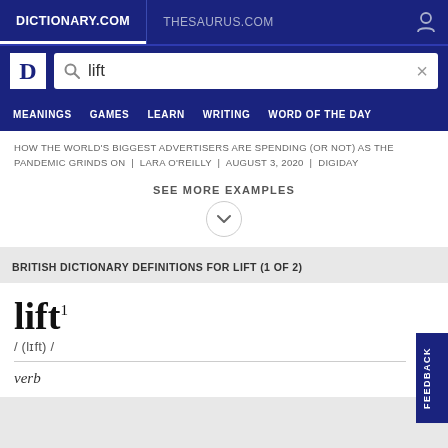DICTIONARY.COM   THESAURUS.COM
[Figure (screenshot): Dictionary.com search bar with 'lift' entered]
MEANINGS   GAMES   LEARN   WRITING   WORD OF THE DAY
HOW THE WORLD'S BIGGEST ADVERTISERS ARE SPENDING (OR NOT) AS THE PANDEMIC GRINDS ON | LARA O'REILLY | AUGUST 3, 2020 | DIGIDAY
SEE MORE EXAMPLES
BRITISH DICTIONARY DEFINITIONS FOR LIFT (1 OF 2)
lift¹
/ (lɪft) /
verb